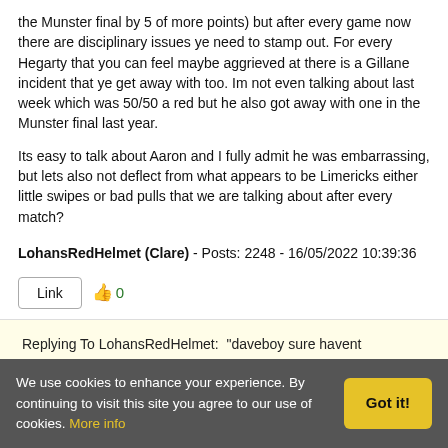the Munster final by 5 of more points) but after every game now there are disciplinary issues ye need to stamp out. For every Hegarty that you can feel maybe aggrieved at there is a Gillane incident that ye get away with too. Im not even talking about last week which was 50/50 a red but he also got away with one in the Munster final last year.
Its easy to talk about Aaron and I fully admit he was embarrassing, but lets also not deflect from what appears to be Limericks either little swipes or bad pulls that we are talking about after every match?
LohansRedHelmet (Clare) - Posts: 2248 - 16/05/2022 10:39:36
Link  👍0
Replying To LohansRedHelmet: "daveboy sure havent
We use cookies to enhance your experience. By continuing to visit this site you agree to our use of cookies. More info